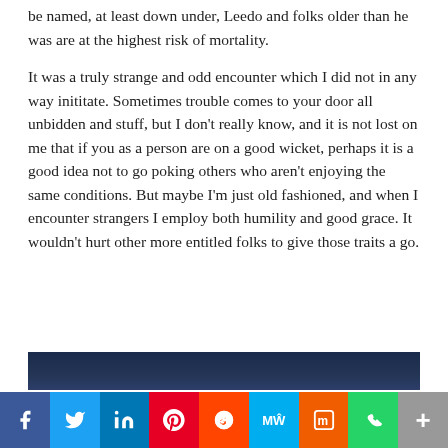be named, at least down under, Leedo and folks older than he was are at the highest risk of mortality.
It was a truly strange and odd encounter which I did not in any way inititate. Sometimes trouble comes to your door all unbidden and stuff, but I don't really know, and it is not lost on me that if you as a person are on a good wicket, perhaps it is a good idea not to go poking others who aren't enjoying the same conditions. But maybe I'm just old fashioned, and when I encounter strangers I employ both humility and good grace. It wouldn't hurt other more entitled folks to give those traits a go.
[Figure (photo): Dark blue/navy sky or night scene, partially visible at bottom of content area]